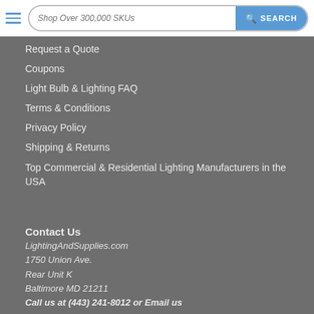Shop Over 300,000 SKUs | SEARCH
Request a Quote
Coupons
Light Bulb & Lighting FAQ
Terms & Conditions
Privacy Policy
Shipping & Returns
Top Commercial & Residential Lighting Manufacturers in the USA
Contact Us
LightingAndSupplies.com
1750 Union Ave.
Rear Unit K
Baltimore MD 21211
Call us at (443) 241-8012 or Email us